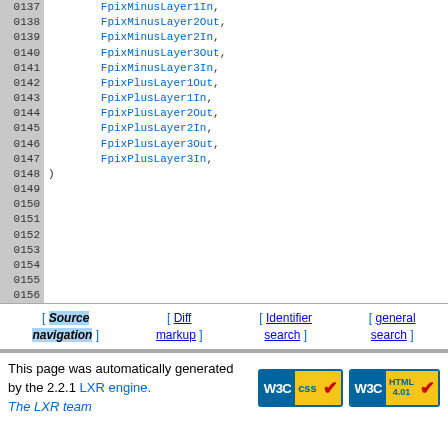0137 FpixMinusLayer1In,
0138 FpixMinusLayer2Out,
0139 FpixMinusLayer2In,
0140 FpixMinusLayer3Out,
0141 FpixMinusLayer3In,
0142 FpixPlusLayer1Out,
0143 FpixPlusLayer1In,
0144 FpixPlusLayer2Out,
0145 FpixPlusLayer2In,
0146 FpixPlusLayer3Out,
0147 FpixPlusLayer3In,
0148 )
0149
0150
0151
0152
0153
0154
0155
0156
[ Source navigation ] [ Diff markup ] [ Identifier search ] [ general search ]
This page was automatically generated by the 2.2.1 LXR engine. The LXR team